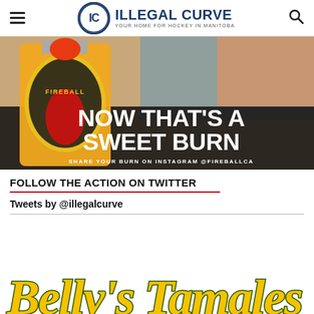ILLEGAL CURVE — YOUR HOME FOR HOCKEY IN MANITOBA
[Figure (photo): Fireball Whisky advertisement — bottle of Fireball on the left with flames, large white text reading NOW THAT'S A SWEET BURN, subtext SHARE YOUR BURN ON INSTAGRAM @FIREBALLCA, background shows a beach/ocean scene]
FOLLOW THE ACTION ON TWITTER
Tweets by @illegalcurve
[Figure (logo): Partially visible stylized script logo in yellow/gold with green outline, beginning with what appears to be a B — bottom of page]